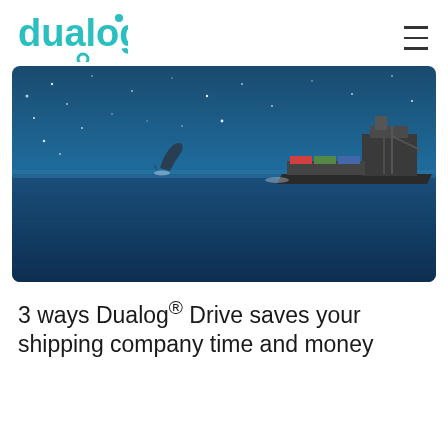[Figure (logo): Dualog logo in teal/turquoise color with a small circle below the letter g]
[Figure (photo): A cargo ship on the ocean at night/dusk with a starry sky, and a dolphin jumping out of the water in the foreground]
3 ways Dualog® Drive saves your shipping company time and money